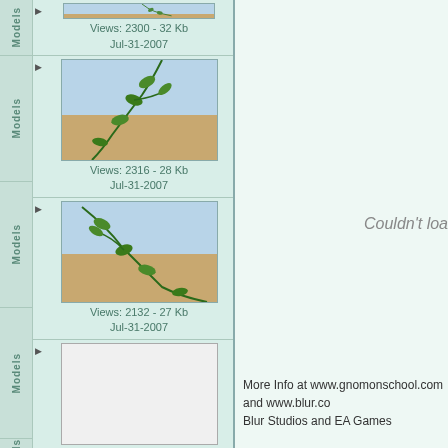[Figure (screenshot): Thumbnail image of plant/vine with green leaves against sky and sandy ground background. Views: 2300 - 32 Kb, Jul-31-2007]
Views: 2300 - 32 Kb
Jul-31-2007
[Figure (screenshot): Thumbnail image of plant/vine with green leaves against sky and sandy ground background. Views: 2316 - 28 Kb, Jul-31-2007]
Views: 2316 - 28 Kb
Jul-31-2007
[Figure (screenshot): Thumbnail image of plant/vine with green leaves against sky and sandy ground background. Views: 2132 - 27 Kb, Jul-31-2007]
Views: 2132 - 27 Kb
Jul-31-2007
[Figure (screenshot): Empty/blank thumbnail placeholder. Views: 2102 - 28 Kb, Jul-31-2007]
Views: 2102 - 28 Kb
Jul-31-2007
[Figure (screenshot): Thumbnail image of plant/vine with green leaves against sky and sandy ground background (partially visible).]
Couldn't loa
More Info at www.gnomonschool.com and www.blur.co
Blur Studios and EA Games